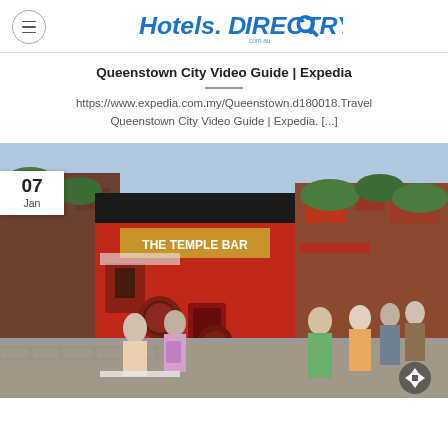Hotels.Directory
Queenstown City Video Guide | Expedia
https://www.expedia.com.my/Queenstown.d180018.Travel Queenstown City Video Guide | Expedia. [...]
[Figure (photo): Street photo of The Temple Bar pub, a red-fronted Irish pub with people walking on cobblestone street. Date badge shows 07 Jan in top-left corner.]